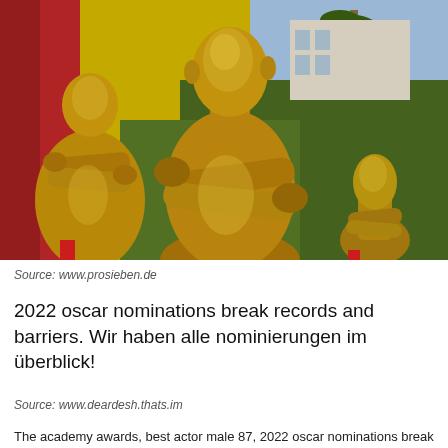[Figure (photo): Three large golden Oscar statuettes displayed outdoors, arms crossed, with red curtain and green hedges in background]
Source: www.prosieben.de
2022 oscar nominations break records and barriers. Wir haben alle nominierungen im überblick!
Source: www.deardesh.thats.im
The academy awards, best actor male 87, 2022 oscar nominations break records and f...